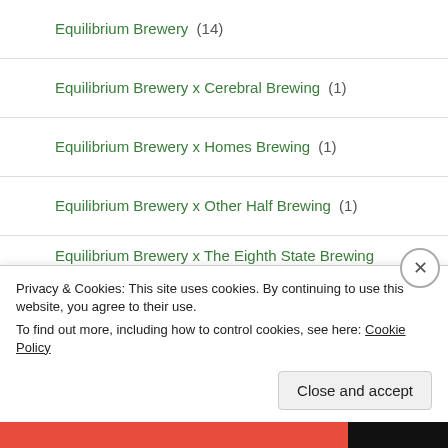Equilibrium Brewery (14)
Equilibrium Brewery x Cerebral Brewing (1)
Equilibrium Brewery x Homes Brewing (1)
Equilibrium Brewery x Other Half Brewing (1)
Equilibrium Brewery x The Eighth State Brewing Company (1)
Evil Twin Brewing (17)
Evil Twin Brewing NYC (3)
Evil Twin Brewing NYC x Burley Oak Brewing Company (1)
Evil Twin Brewing x 7venth Sun Brewery (1)
Privacy & Cookies: This site uses cookies. By continuing to use this website, you agree to their use. To find out more, including how to control cookies, see here: Cookie Policy
Close and accept